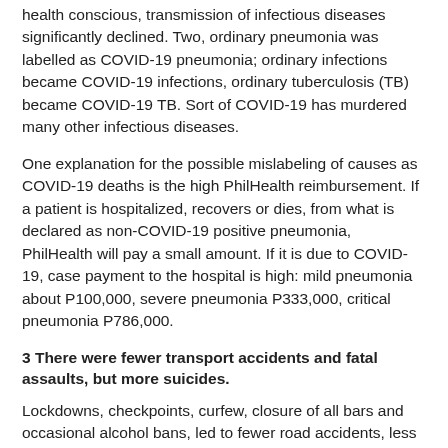health conscious, transmission of infectious diseases significantly declined. Two, ordinary pneumonia was labelled as COVID-19 pneumonia; ordinary infections became COVID-19 infections, ordinary tuberculosis (TB) became COVID-19 TB. Sort of COVID-19 has murdered many other infectious diseases.
One explanation for the possible mislabeling of causes as COVID-19 deaths is the high PhilHealth reimbursement. If a patient is hospitalized, recovers or dies, from what is declared as non-COVID-19 positive pneumonia, PhilHealth will pay a small amount. If it is due to COVID-19, case payment to the hospital is high: mild pneumonia about P100,000, severe pneumonia P333,000, critical pneumonia P786,000.
3 There were fewer transport accidents and fatal assaults, but more suicides.
Lockdowns, checkpoints, curfew, closure of all bars and occasional alcohol bans, led to fewer road accidents, less fights. But there was more self-inflicted harm or suicides (see Table 1).